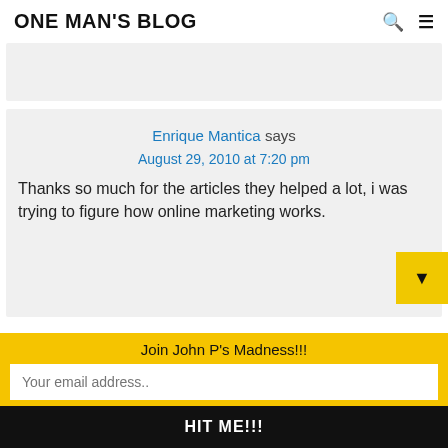ONE MAN'S BLOG
[Figure (other): Gray advertisement/placeholder box]
Enrique Mantica says
August 29, 2010 at 7:20 pm
Thanks so much for the articles they helped a lot, i was trying to figure how online marketing works.
Join John P's Madness!!!
Your email address..
HIT ME!!!